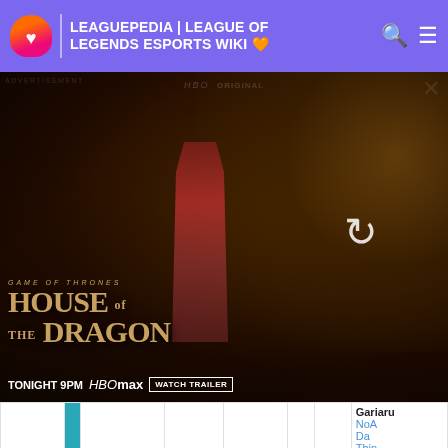LEAGUEPEDIA | LEAGUE OF LEGENDS ESPORTS WIKI
[Figure (screenshot): HBO Max advertisement for House of the Dragon - Game of Thrones prequel, Tonight 9PM]
| Date | # | Tournament | Score | vs | Opponent | Info | Team | Players |
| --- | --- | --- | --- | --- | --- | --- | --- | --- |
|  |  |  |  |  |  |  | Gariaru | NoA, Day, Thin, Jeroph, Ping |
| 2018-09-15 | 2 | LJL 2018 Summer Playoffs | 1:3 |  | DFM | i | SG | apaM, Tussl, Gariaru, Gango, Enty |